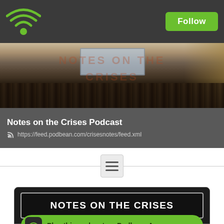[Figure (screenshot): Podbean app screenshot showing top navigation bar with green WiFi/podcast logo on left and green Follow button on right, on dark gray background]
[Figure (photo): Photo of a crowded legislative hearing room with people seated, US map on wall, tall curtains, overlaid text NOTES ON THE CRISES in faint orange watermark]
Notes on the Crises Podcast
https://feed.podbean.com/crisesnotes/feed.xml
[Figure (other): Hamburger menu icon centered between two horizontal divider lines]
[Figure (screenshot): Podcast player card with dark background showing NOTES ON THE CRISES title in white uppercase text inside a bordered box, and a green Play this podcast on Podbean App button below]